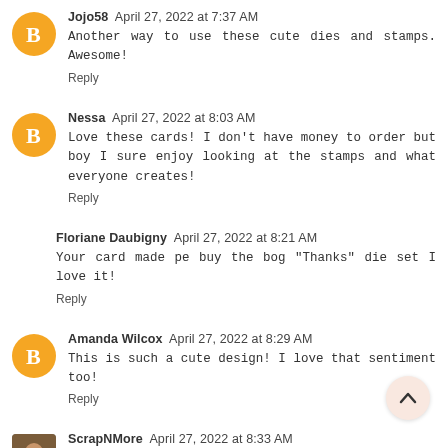Jojo58  April 27, 2022 at 7:37 AM
Another way to use these cute dies and stamps. Awesome!
Reply
Nessa  April 27, 2022 at 8:03 AM
Love these cards! I don't have money to order but boy I sure enjoy looking at the stamps and what everyone creates!
Reply
Floriane Daubigny  April 27, 2022 at 8:21 AM
Your card made pe buy the bog "Thanks" die set I love it!
Reply
Amanda Wilcox  April 27, 2022 at 8:29 AM
This is such a cute design! I love that sentiment too!
Reply
ScrapNMore  April 27, 2022 at 8:33 AM
The windows behind the animals is so unique. A cut !